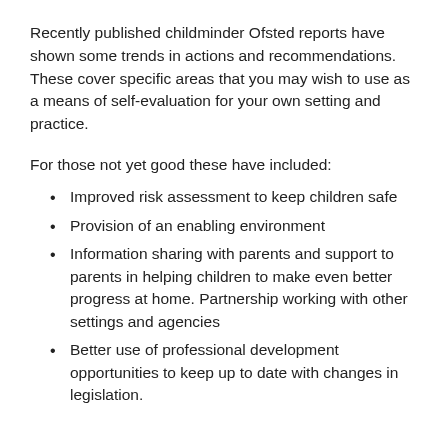Recently published childminder Ofsted reports have shown some trends in actions and recommendations. These cover specific areas that you may wish to use as a means of self-evaluation for your own setting and practice.
For those not yet good these have included:
Improved risk assessment to keep children safe
Provision of an enabling environment
Information sharing with parents and support to parents in helping children to make even better progress at home. Partnership working with other settings and agencies
Better use of professional development opportunities to keep up to date with changes in legislation.